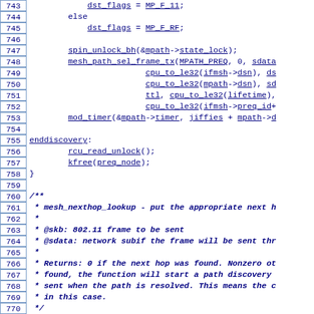[Figure (screenshot): Source code listing showing C kernel code for mesh path discovery, lines 743-773, with line numbers in bordered boxes on the left and blue monospace code on the right.]